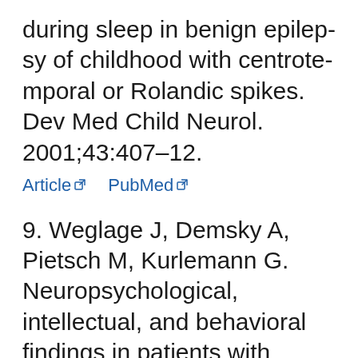during sleep in benign epilepsy of childhood with centrotemporal or Rolandic spikes. Dev Med Child Neurol. 2001;43:407–12.
Article [external link]   PubMed [external link]
9. Weglage J, Demsky A, Pietsch M, Kurlemann G. Neuropsychological, intellectual, and behavioral findings in patients with centrotemporal spikes with and without seizures. Dev Med Child Neurol. 1997;39:6